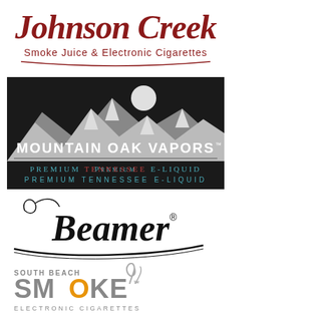[Figure (logo): Johnson Creek Smoke Juice & Electronic Cigarettes logo — cursive dark red script brand name with tagline below]
[Figure (logo): Mountain Oak Vapors logo — dark background with white mountain silhouettes and moon, text 'MOUNTAIN OAK VAPORS™' and 'PREMIUM TENNESSEE E-LIQUID' in teal/red letters]
[Figure (logo): Beamer logo — black cursive script with registered trademark symbol]
[Figure (logo): South Beach Smoke Electronic Cigarettes logo — grey/orange/white text with smoke graphic and trademark symbol]